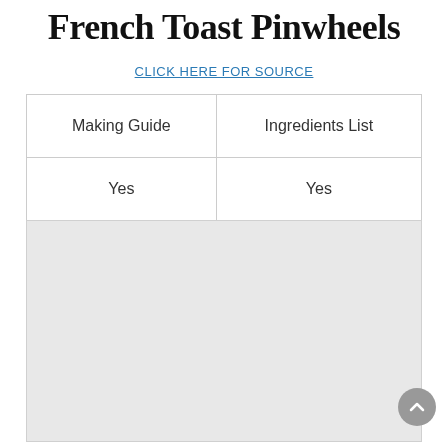French Toast Pinwheels
CLICK HERE FOR SOURCE
| Making Guide | Ingredients List |
| --- | --- |
| Yes | Yes |
[Figure (photo): Large light gray placeholder image area below the table]